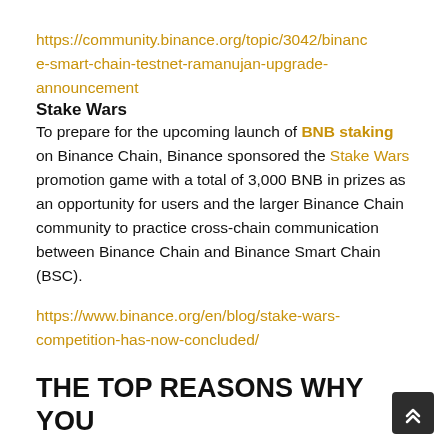https://community.binance.org/topic/3042/binance-smart-chain-testnet-ramanujan-upgrade-announcement
Stake Wars
To prepare for the upcoming launch of BNB staking on Binance Chain, Binance sponsored the Stake Wars promotion game with a total of 3,000 BNB in prizes as an opportunity for users and the larger Binance Chain community to practice cross-chain communication between Binance Chain and Binance Smart Chain (BSC).
https://www.binance.org/en/blog/stake-wars-competition-has-now-concluded/
THE TOP REASONS WHY YOU